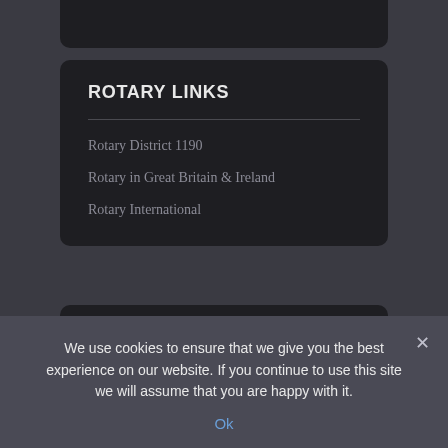ROTARY LINKS
Rotary District 1190
Rotary in Great Britain & Ireland
Rotary International
SECRETARY
Mr Cliff Randall
Tel: 01524 62619
We use cookies to ensure that we give you the best experience on our website. If you continue to use this site we will assume that you are happy with it.
Ok